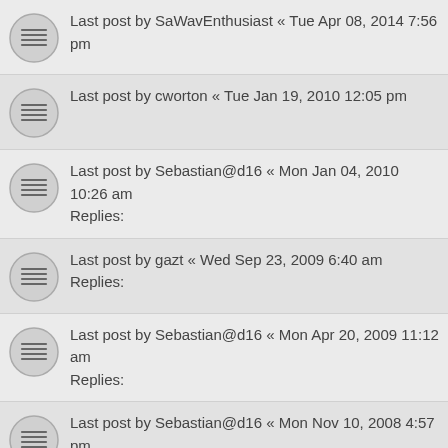Last post by SaWavEnthusiast « Tue Apr 08, 2014 7:56 pm
Last post by cworton « Tue Jan 19, 2010 12:05 pm
Last post by Sebastian@d16 « Mon Jan 04, 2010 10:26 am
Replies:
Last post by gazt « Wed Sep 23, 2009 6:40 am
Replies:
Last post by Sebastian@d16 « Mon Apr 20, 2009 11:12 am
Replies:
Last post by Sebastian@d16 « Mon Nov 10, 2008 4:57 pm
Replies:
Last post by Lovechld2000 « Wed Oct 01, 2008 4:34 pm
Replies:
Last post by Sebastian@d16 « Fri Sep 26, 2008 10:42 am